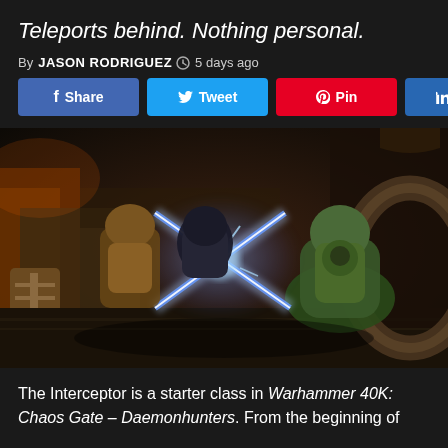Teleports behind. Nothing personal.
By JASON RODRIGUEZ  5 days ago
[Figure (other): Social sharing buttons: Facebook Share, Twitter Tweet, Pinterest Pin, LinkedIn Share]
[Figure (screenshot): Screenshot from Warhammer 40K: Chaos Gate – Daemonhunters video game showing combat scene with blue energy X-shaped slash effect between characters]
The Interceptor is a starter class in Warhammer 40K: Chaos Gate – Daemonhunters. From the beginning of